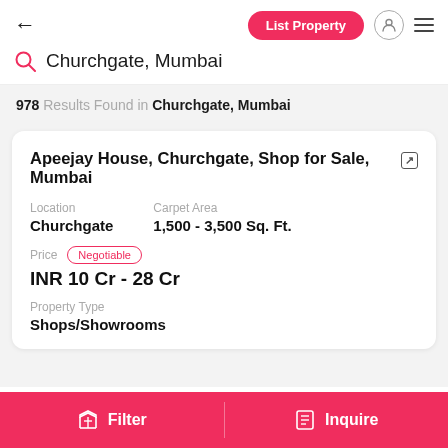← List Property
Churchgate, Mumbai
978 Results Found in Churchgate, Mumbai
Apeejay House, Churchgate, Shop for Sale, Mumbai
| Location | Carpet Area |
| --- | --- |
| Churchgate | 1,500 - 3,500 Sq. Ft. |
Price  Negotiable
INR 10 Cr - 28 Cr
Property Type
Shops/Showrooms
Filter   Inquire